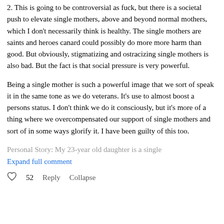2. This is going to be controversial as fuck, but there is a societal push to elevate single mothers, above and beyond normal mothers, which I don't necessarily think is healthy. The single mothers are saints and heroes canard could possibly do more more harm than good. But obviously, stigmatizing and ostracizing single mothers is also bad. But the fact is that social pressure is very powerful.
Being a single mother is such a powerful image that we sort of speak it in the same tone as we do veterans. It's use to almost boost a persons status. I don't think we do it consciously, but it's more of a thing where we overcompensated our support of single mothers and sort of in some ways glorify it. I have been guilty of this too.
Personal Story: My 23-year old daughter is a single
Expand full comment
52  Reply  Collapse